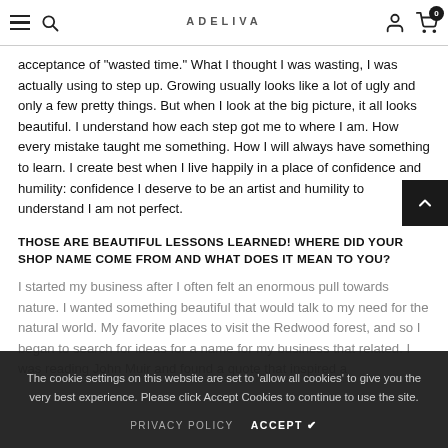ADELIVA — navigation bar with hamburger menu, search, logo, user icon, cart (0)
acceptance of "wasted time." What I thought I was wasting, I was actually using to step up. Growing usually looks like a lot of ugly and only a few pretty things. But when I look at the big picture, it all looks beautiful. I understand how each step got me to where I am. How every mistake taught me something. How I will always have something to learn. I create best when I live happily in a place of confidence and humility: confidence I deserve to be an artist and humility to understand I am not perfect.
THOSE ARE BEAUTIFUL LESSONS LEARNED! WHERE DID YOUR SHOP NAME COME FROM AND WHAT DOES IT MEAN TO YOU?
I started my business after I often felt an enormous pull towards nature. I wanted something beautiful that would talk to my need for the natural world. My favorite places to visit the Redwood forest, and so I began to search for ideas for a name for my business that related. I was reading John Muir and found a quote that inspired a
The cookie settings on this website are set to 'allow all cookies' to give you the very best experience. Please click Accept Cookies to continue to use the site.
PRIVACY POLICY   ACCEPT ✔